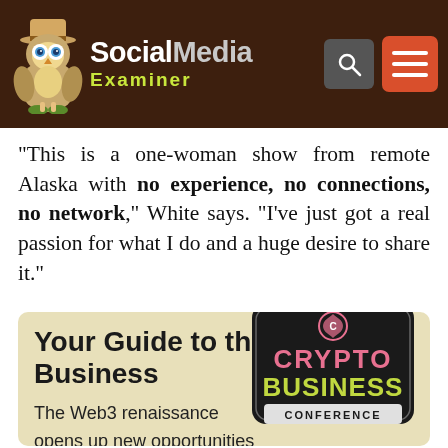Social Media Examiner
“This is a one-woman show from remote Alaska with no experience, no connections, no network,” White says. “I’ve just got a real passion for what I do and a huge desire to share it.”
Your Guide to the Future of Business
The Web3 renaissance opens up new opportunities for entrepreneurs, creators, and marketers who are
[Figure (logo): Crypto Business Conference logo badge]